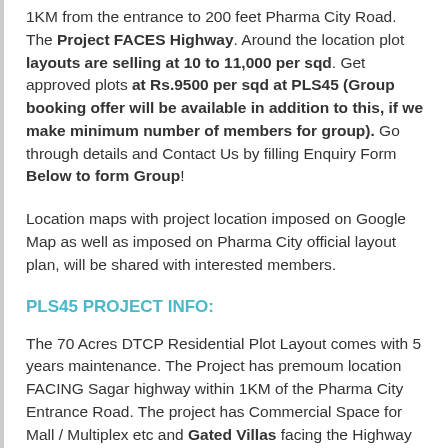1KM from the entrance to 200 feet Pharma City Road. The Project FACES Highway. Around the location plot layouts are selling at 10 to 11,000 per sqd. Get approved plots at Rs.9500 per sqd at PLS45 (Group booking offer will be available in addition to this, if we make minimum number of members for group). Go through details and Contact Us by filling Enquiry Form Below to form Group!
Location maps with project location imposed on Google Map as well as imposed on Pharma City official layout plan, will be shared with interested members.
PLS45 PROJECT INFO:
The 70 Acres DTCP Residential Plot Layout comes with 5 years maintenance. The Project has premoum location FACING Sagar highway within 1KM of the Pharma City Entrance Road. The project has Commercial Space for Mall / Multiplex etc and Gated Villas facing the Highway and